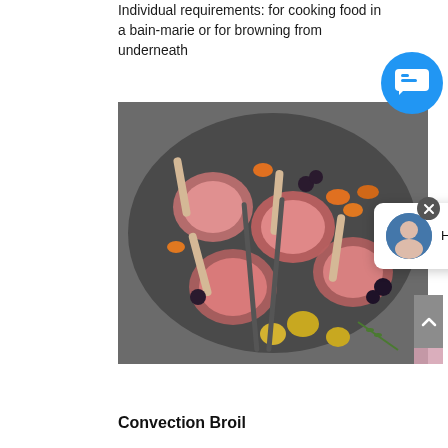Individual requirements: for cooking food in a bain-marie or for browning from underneath
[Figure (photo): Overhead view of rack of lamb chops with roasted vegetables including carrots, grapes/plums, and potatoes on a dark plate, with serving utensils]
[Figure (screenshot): Chat widget popup showing avatar of a man with text 'Hey there, have a question? Chat with us!' with a blue round chat button in upper right and a close X button]
Convection Broil